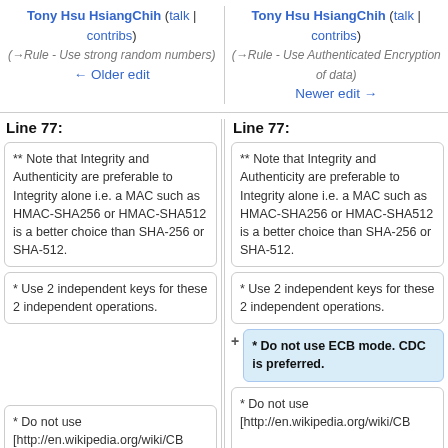Tony Hsu HsiangChih (talk | contribs)
(→Rule - Use strong random numbers)
← Older edit
Tony Hsu HsiangChih (talk | contribs)
(→Rule - Use Authenticated Encryption of data)
Newer edit →
Line 77:
Line 77:
** Note that Integrity and Authenticity are preferable to Integrity alone i.e. a MAC such as HMAC-SHA256 or HMAC-SHA512 is a better choice than SHA-256 or SHA-512.
** Note that Integrity and Authenticity are preferable to Integrity alone i.e. a MAC such as HMAC-SHA256 or HMAC-SHA512 is a better choice than SHA-256 or SHA-512.
* Use 2 independent keys for these 2 independent operations.
* Use 2 independent keys for these 2 independent operations.
* Do not use ECB mode. CDC is preferred.
* Do not use
[http://en.wikipedia.org/wiki/CB
* Do not use
[http://en.wikipedia.org/wiki/CB